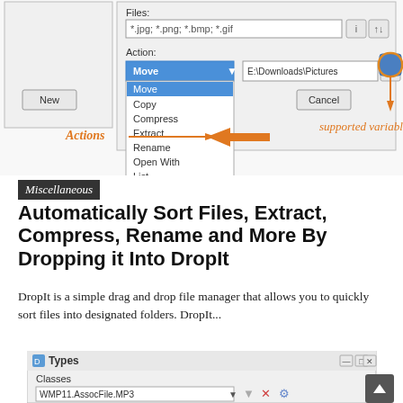[Figure (screenshot): Screenshot of a file sorting dialog showing Action dropdown menu with options: Move (highlighted), Copy, Compress, Extract, Rename, Open With, List, Delete, Ignore. Orange annotation arrows pointing to 'Actions' label and 'supported variables' label. Path shows E:\Downloads\Pictures.]
Miscellaneous
Automatically Sort Files, Extract, Compress, Rename and More By Dropping it Into DropIt
DropIt is a simple drag and drop file manager that allows you to quickly sort files into designated folders. DropIt...
[Figure (screenshot): Screenshot of a 'Types' dialog window showing Classes field with 'WMP11.AssocFile.MP3' selected in dropdown, filter/delete/settings icons, Extensions section, and file type icons at the bottom.]